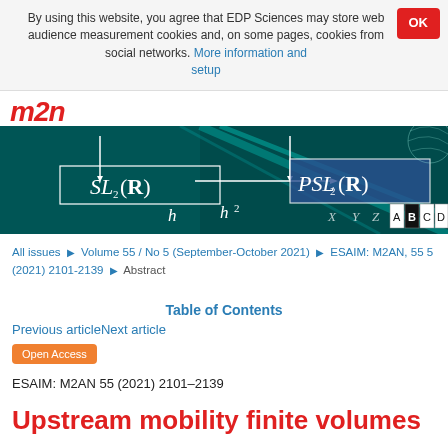By using this website, you agree that EDP Sciences may store web audience measurement cookies and, on some pages, cookies from social networks. More information and setup
[Figure (illustration): M2AN journal banner with dark teal background showing mathematical formulas SL2(R) and PSL2(R), with h and h² labels, alphabet tiles A B C D E, and geometric light beam decoration]
All issues ▶ Volume 55 / No 5 (September-October 2021) ▶ ESAIM: M2AN, 55 5 (2021) 2101-2139 ▶ Abstract
Table of Contents
Previous articleNext article
Open Access
ESAIM: M2AN 55 (2021) 2101–2139
Upstream mobility finite volumes